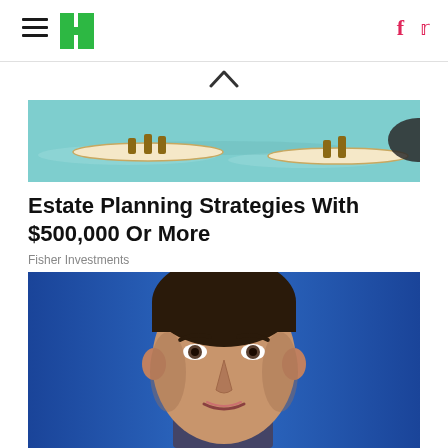HuffPost navigation with hamburger menu, logo, Facebook and Twitter icons
[Figure (illustration): Chevron/caret up arrow symbol for collapsing content]
[Figure (photo): Advertisement banner image showing people paddleboarding on water, vintage illustration style with teal/turquoise water]
Estate Planning Strategies With $500,000 Or More
Fisher Investments
[Figure (photo): Close-up photograph of a man's face against a blue background, appearing to be a politician or public figure in a suit and tie]